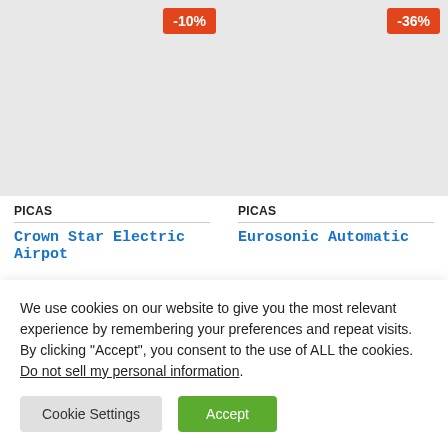[Figure (photo): Product image placeholder for Crown Star Electric Airpot with -10% discount badge, light gray background]
[Figure (photo): Product image placeholder for Eurosonic Automatic with -36% discount badge, light gray background]
PICAS
PICAS
Crown Star Electric Airpot
Eurosonic Automatic
We use cookies on our website to give you the most relevant experience by remembering your preferences and repeat visits. By clicking “Accept”, you consent to the use of ALL the cookies. Do not sell my personal information.
Cookie Settings
Accept